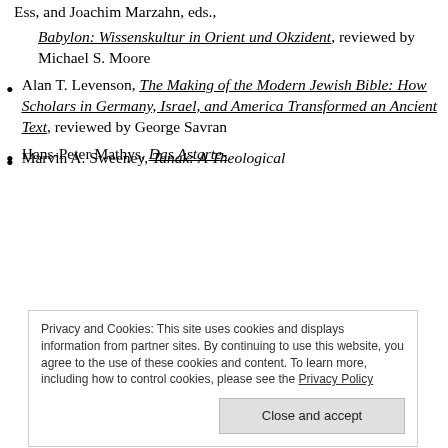Ess, and Joachim Marzahn, eds., Babylon: Wissenskultur in Orient und Okzident, reviewed by Michael S. Moore
Alan T. Levenson, The Making of the Modern Jewish Bible: How Scholars in Germany, Israel, and America Transformed an Ancient Text, reviewed by George Savran
Hans-Peter Mathys, Das Astarte-
Privacy and Cookies: This site uses cookies and displays information from partner sites. By continuing to use this website, you agree to the use of these cookies and content. To learn more, including how to control cookies, please see the Privacy Policy
Marvin A. Sweeney, Tanak: A Theological